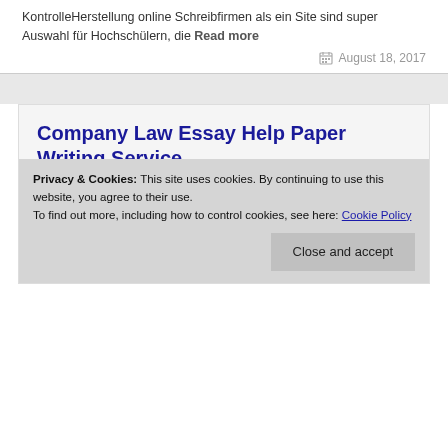KontrolleHerstellung online Schreibfirmen als ein Site sind super Auswahl für Hochschülern, die Read more
August 18, 2017
Company Law Essay Help Paper Writing Service
Write A Paper For Me
Privacy & Cookies: This site uses cookies. By continuing to use this website, you agree to their use. To find out more, including how to control cookies, see here: Cookie Policy
Close and accept
my term paper A no co signer personal loan is still another